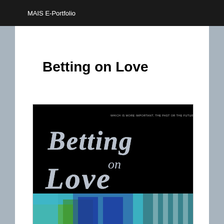MAIS E-Portfolio
Betting on Love
[Figure (illustration): Movie poster for 'Betting on Love' featuring large stylized chrome metallic lettering on a black background with the tagline 'WHICH IS MORE IMPORTANT, THE PAST OR THE FUTURE?' and a bottom strip showing a person in jeans with tropical/colorful background elements]